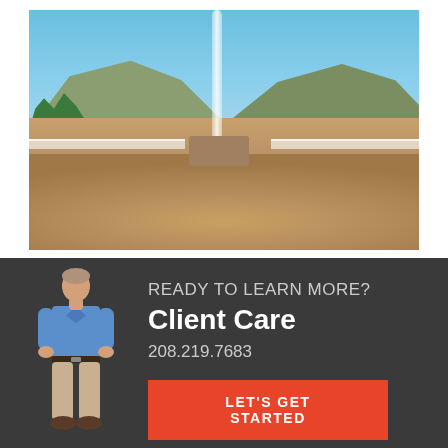[Figure (photo): Outdoor geyser erupting with a tall water column, sandy/wet ground surrounding the base, mountains and blue sky in background, trees to the left, fencing visible in middle ground]
[Figure (photo): Man in blue long-sleeve shirt and khaki pants standing on dark background]
READY TO LEARN MORE?
Client Care
208.219.7683
LET'S GET STARTED